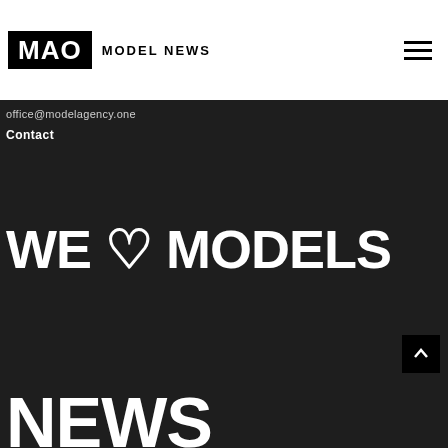MAO MODEL NEWS
office@modelagency.one
Contact
WE ♡ MODELS
NEWS